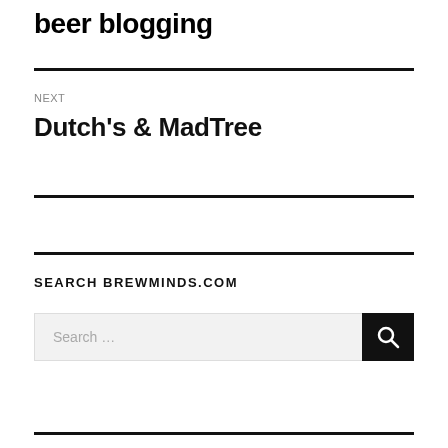beer blogging
NEXT
Dutch's & MadTree
SEARCH BREWMINDS.COM
Search …